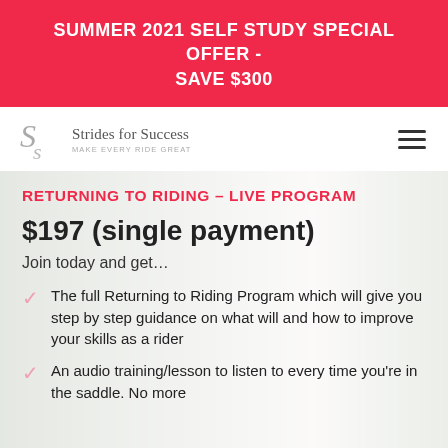SUMMER 2021 SELF STUDY SPECIAL OFFER - SAVE $300
[Figure (logo): Strides for Success logo with stylized SS monogram and text 'Strides for Success - MAKE EVERY RIDE GREAT']
RETURNING TO RIDING - LIVE PROGRAM
$197 (single payment)
Join today and get...
The full Returning to Riding Program which will give you step by step guidance on what will and how to improve your skills as a rider
An audio training/lesson to listen to every time you're in the saddle. No more